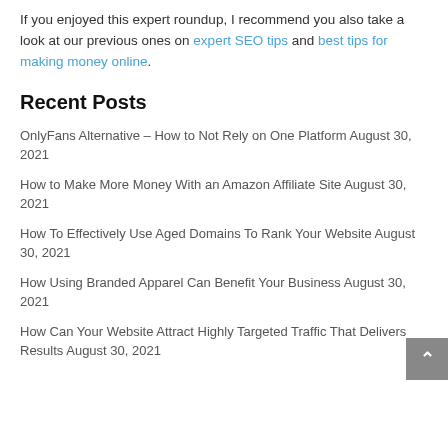If you enjoyed this expert roundup, I recommend you also take a look at our previous ones on expert SEO tips and best tips for making money online.
Recent Posts
OnlyFans Alternative – How to Not Rely on One Platform August 30, 2021
How to Make More Money With an Amazon Affiliate Site August 30, 2021
How To Effectively Use Aged Domains To Rank Your Website August 30, 2021
How Using Branded Apparel Can Benefit Your Business August 30, 2021
How Can Your Website Attract Highly Targeted Traffic That Delivers Results August 30, 2021